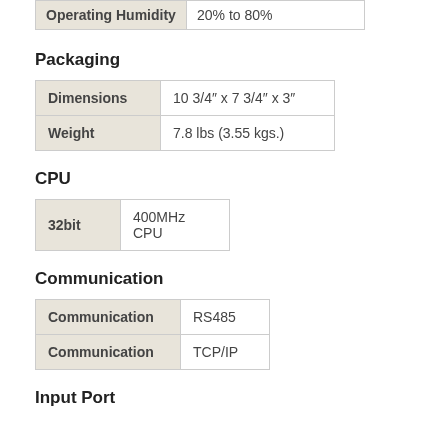|  |  |
| --- | --- |
| Operating Humidity | 20% to 80% |
Packaging
|  |  |
| --- | --- |
| Dimensions | 10 3/4" x 7 3/4" x 3" |
| Weight | 7.8 lbs (3.55 kgs.) |
CPU
|  |  |
| --- | --- |
| 32bit | 400MHz CPU |
Communication
|  |  |
| --- | --- |
| Communication | RS485 |
| Communication | TCP/IP |
Input Port